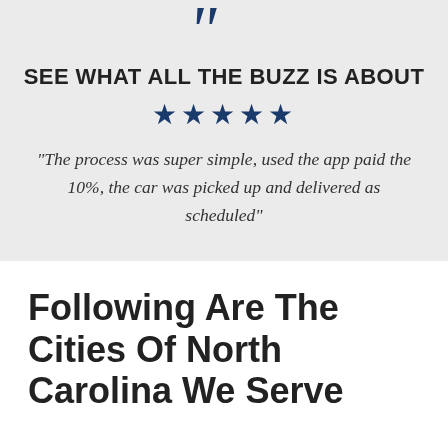[Figure (illustration): Large blue closing quotation marks decorative element at top of gray section]
SEE WHAT ALL THE BUZZ IS ABOUT
★★★★★
"The process was super simple, used the app paid the 10%, the car was picked up and delivered as scheduled"
Following Are The Cities Of North Carolina We Serve